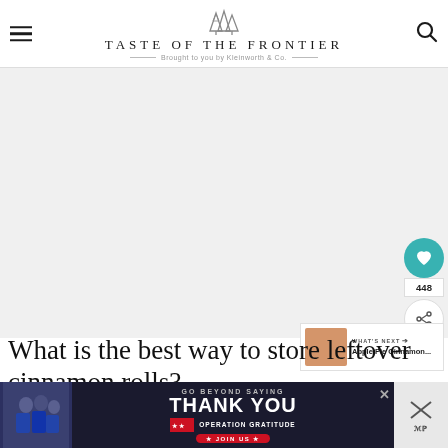TASTE OF THE FRONTIER — Brought to you by Kleinworth & Co.
[Figure (photo): Large hero/banner image area, mostly white/light gray placeholder for a food photograph]
[Figure (photo): What's Next thumbnail showing Apple Pie Cinnamon... item]
What is the best way to store leftover cinnamon rolls?
The...
[Figure (other): Operation Gratitude advertisement banner: GO BEYOND SAYING THANK YOU — JOIN US]